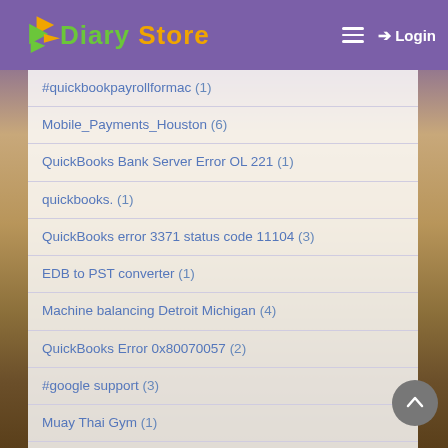Diary Store — Login
#quickbookpayrollformac (1)
Mobile_Payments_Houston (6)
QuickBooks Bank Server Error OL 221 (1)
quickbooks. (1)
QuickBooks error 3371 status code 11104 (3)
EDB to PST converter (1)
Machine balancing Detroit Michigan (4)
QuickBooks Error 0x80070057 (2)
#google support (3)
Muay Thai Gym (1)
Australia Education Consultants (1)
North India (1)